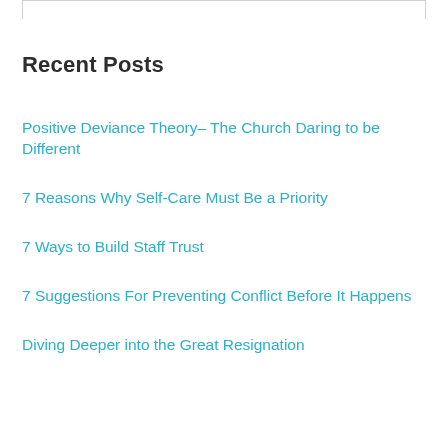Recent Posts
Positive Deviance Theory– The Church Daring to be Different
7 Reasons Why Self-Care Must Be a Priority
7 Ways to Build Staff Trust
7 Suggestions For Preventing Conflict Before It Happens
Diving Deeper into the Great Resignation